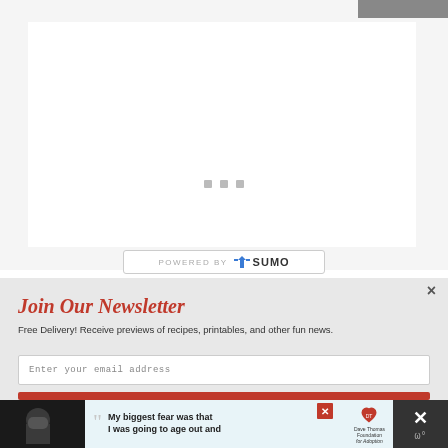[Figure (screenshot): Gray top area with a white inner block and three small gray dots (carousel indicators) centered, with a 'Powered by SUMO' badge below]
Join Our Newsletter
Free Delivery! Receive previews of recipes, printables, and other fun news.
Enter your email address
[Figure (screenshot): Bottom advertisement banner: photo of person with beanie, quote text 'My biggest fear was that I was going to age out and', Dave Thomas Foundation for Adoption logo, close button, and X close on the right]